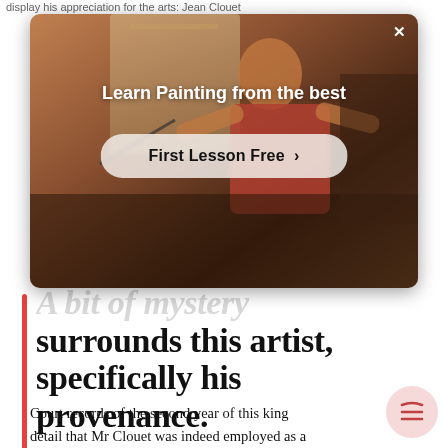display his appreciation for the arts: Jean Clouet
[Figure (screenshot): Advertisement overlay showing a person painting, with text 'Learn Painting from the best' and a 'First Lesson Free' button, and a close X button in the top right]
A bit of mystery surrounds this artist, specifically his provenance.
Court records of the second year of this king detail that Mr Clouet was indeed employed as a